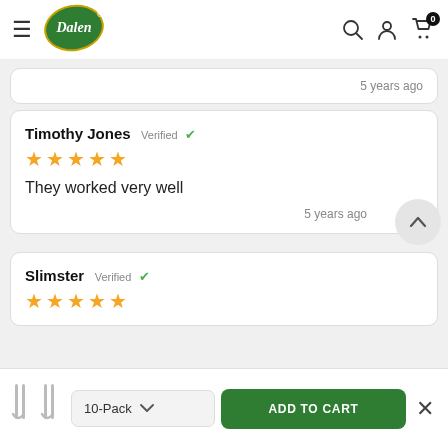[Figure (logo): Dalen brand logo — green leaf shape with white cursive Dalen text and registered trademark symbol]
5 years ago
Timothy Jones Verified ✓
★★★★★
They worked very well
5 years ago
Slimster Verified ✓
★★★★★
10-Pack
ADD TO CART